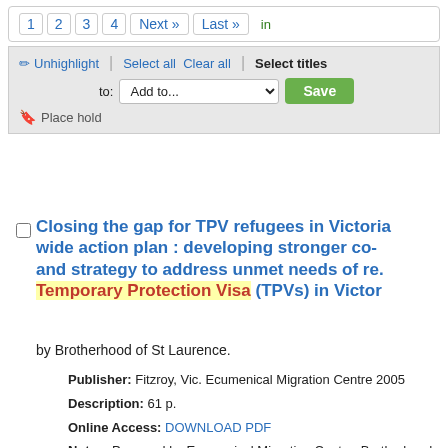1  2  3  4  Next »  Last »  (in)
✏ Unhighlight  |  Select all  Clear all  |  Select titles  to: Add to...  Save  ☖ Place hold
Closing the gap for TPV refugees in Victoria: wide action plan : developing stronger co-operation and strategy to address unmet needs of refugees on Temporary Protection Visa (TPVs) in Victoria
by Brotherhood of St Laurence.
Publisher: Fitzroy, Vic. Ecumenical Migration Centre 2005
Description: 61 p.
Online Access: DOWNLOAD PDF
Notes: Prepared by Ecumenical Migration Centre, Brotherhood of...
Summary: Closing the Gap for TPV Refugees in Victoria: A State-wide... proposes a series of recommendations to address this service framework and guide resource allocation. The recommendations are specific, time-limited, developed to assist TPV refugees as they move through positive settlement outcomes for themselves and their families...